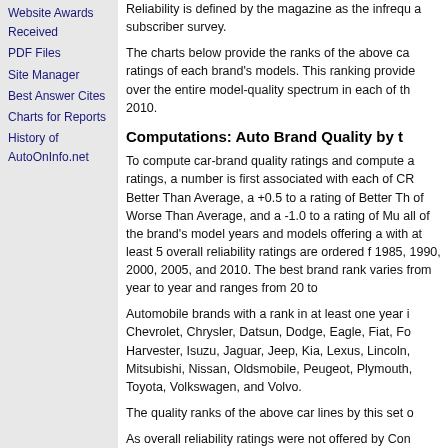Website Awards Received
PDF Files
Site Manager
Best Answer Cites
Charts for Reports
History of AutoOnInfo.net
Reliability is defined by the magazine as the infrequ a subscriber survey.
The charts below provide the ranks of the above ca ratings of each brand's models. This ranking provide over the entire model-quality spectrum in each of th 2010.
Computations: Auto Brand Quality by t
To compute car-brand quality ratings and compute a ratings, a number is first associated with each of CR Better Than Average, a +0.5 to a rating of Better Th of Worse Than Average, and a -1.0 to a rating of Mu all of the brand's model years and models offering a with at least 5 overall reliability ratings are ordered f 1985, 1990, 2000, 2005, and 2010. The best brand rank varies from year to year and ranges from 20 to
Automobile brands with a rank in at least one year i Chevrolet, Chrysler, Datsun, Dodge, Eagle, Fiat, Fo Harvester, Isuzu, Jaguar, Jeep, Kia, Lexus, Lincoln, Mitsubishi, Nissan, Oldsmobile, Peugeot, Plymouth, Toyota, Volkswagen, and Volvo.
The quality ranks of the above car lines by this set o
As overall reliability ratings were not offered by Con averages were used for ranking the automobile ma